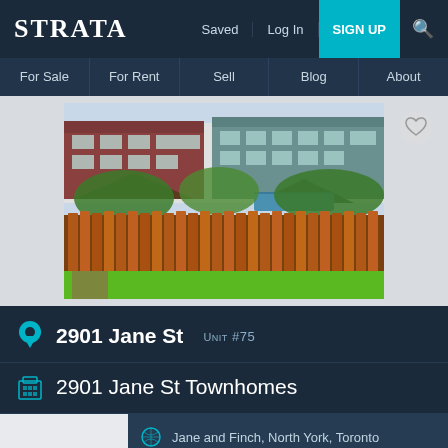STRATA | Saved | Log In | SIGN UP
For Sale | For Rent | Sell | Blog | About
[Figure (photo): Exterior backyard photo showing a wooden picket fence in front of a row of townhomes with green foliage and a small garden path]
2901 Jane St  UNIT #75
2901 Jane St Townhomes
Jane and Finch, North York, Toronto